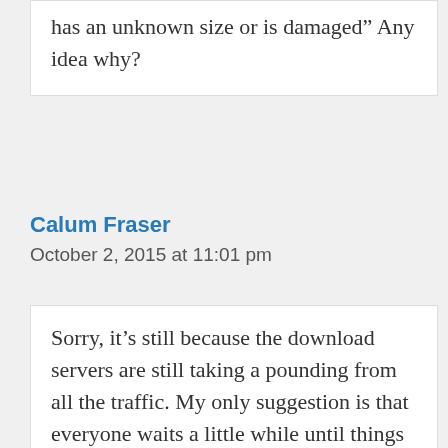has an unknown size or is damaged" Any idea why?
Calum Fraser
October 2, 2015 at 11:01 pm
Sorry, it's still because the download servers are still taking a pounding from all the traffic. My only suggestion is that everyone waits a little while until things calm down. Things should hopefully settle down in a few hours. :)